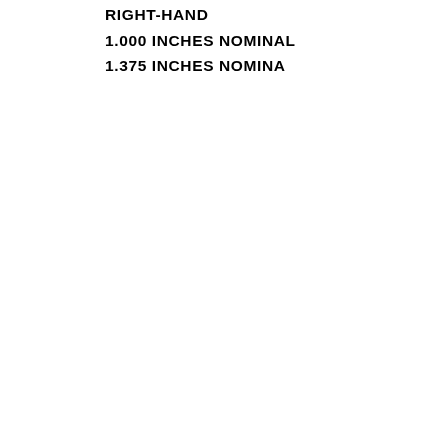RIGHT-HAND
1.000 INCHES NOMINAL
1.375 INCHES NOMINA
[Figure (infographic): Social media share buttons: Google+, Facebook, LinkedIn, Twitter, People, StumbleUpon arranged vertically on the left side]